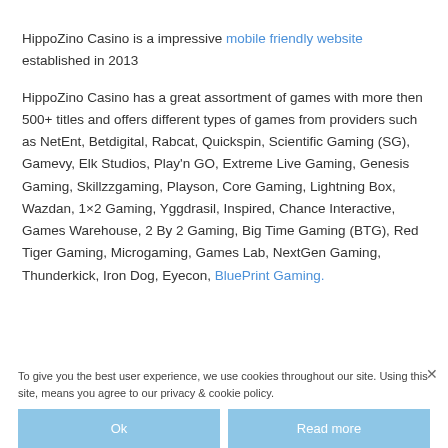HippoZino Casino is a impressive mobile friendly website established in 2013
HippoZino Casino has a great assortment of games with more then 500+ titles and offers different types of games from providers such as NetEnt, Betdigital, Rabcat, Quickspin, Scientific Gaming (SG), Gamevy, Elk Studios, Play'n GO, Extreme Live Gaming, Genesis Gaming, Skillzzgaming, Playson, Core Gaming, Lightning Box, Wazdan, 1×2 Gaming, Yggdrasil, Inspired, Chance Interactive, Games Warehouse, 2 By 2 Gaming, Big Time Gaming (BTG), Red Tiger Gaming, Microgaming, Games Lab, NextGen Gaming, Thunderkick, Iron Dog, Eyecon, BluePrint Gaming.
To give you the best user experience, we use cookies throughout our site. Using this site, means you agree to our privacy & cookie policy.